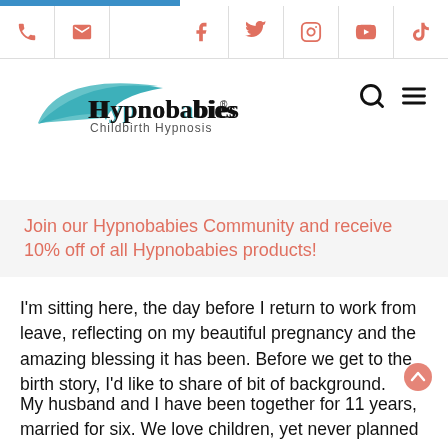Hypnobabies® Childbirth Hypnosis — navigation bar with phone, email, facebook, twitter, instagram, youtube, tiktok icons
[Figure (logo): Hypnobabies® Childbirth Hypnosis logo with teal swoosh and serif text]
Join our Hypnobabies Community and receive 10% off of all Hypnobabies products!
I'm sitting here, the day before I return to work from leave, reflecting on my beautiful pregnancy and the amazing blessing it has been. Before we get to the birth story, I'd like to share of bit of background.
My husband and I have been together for 11 years, married for six. We love children, yet never planned on having our own. So, you might say this